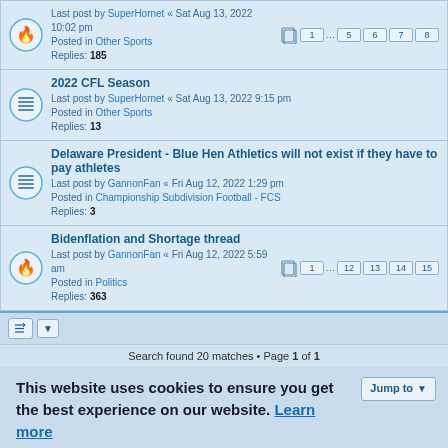Last post by SuperHornet « Sat Aug 13, 2022 10:02 pm
Posted in Other Sports
Replies: 185
Pages: 1 ... 5 6 7 8
2022 CFL Season
Last post by SuperHornet « Sat Aug 13, 2022 9:15 pm
Posted in Other Sports
Replies: 13
Delaware President - Blue Hen Athletics will not exist if they have to pay athletes
Last post by GannonFan « Fri Aug 12, 2022 1:29 pm
Posted in Championship Subdivision Football - FCS
Replies: 3
Bidenflation and Shortage thread
Last post by GannonFan « Fri Aug 12, 2022 5:59 am
Posted in Politics
Replies: 363
Pages: 1 ... 12 13 14 15
Search found 20 matches • Page 1 of 1
This website uses cookies to ensure you get the best experience on our website. Learn more
Got it!
Board index   Contact us   Delete cookies   All times are UTC-07:00
Powered by phpBB® Forum Software © phpBB Limited
Privacy | Terms